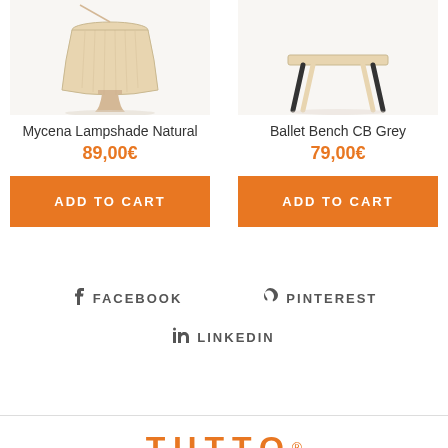[Figure (photo): Mycena Lampshade Natural product photo - wooden lamp with natural finish]
Mycena Lampshade Natural
89,00€
ADD TO CART
[Figure (photo): Ballet Bench CB Grey product photo - wooden bench with grey and natural wood legs]
Ballet Bench CB Grey
79,00€
ADD TO CART
FACEBOOK
PINTEREST
LINKEDIN
TUTTO®